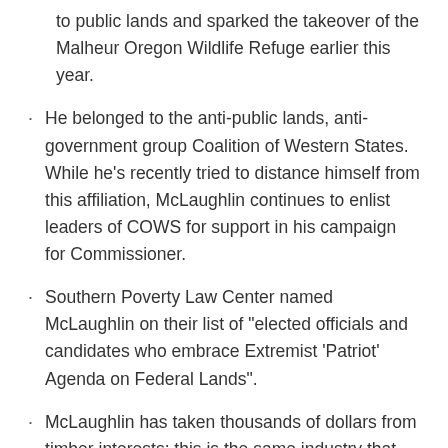to public lands and sparked the takeover of the Malheur Oregon Wildlife Refuge earlier this year.
He belonged to the anti-public lands, anti-government group Coalition of Western States. While he's recently tried to distance himself from this affiliation, McLaughlin continues to enlist leaders of COWS for support in his campaign for Commissioner.
Southern Poverty Law Center named McLaughlin on their list of "elected officials and candidates who embrace Extremist 'Patriot' Agenda on Federal Lands".
McLaughlin has taken thousands of dollars from timber interests; this is the same industry that the Commissioner of Public Lands would regulate.
He openly questions human caused climate